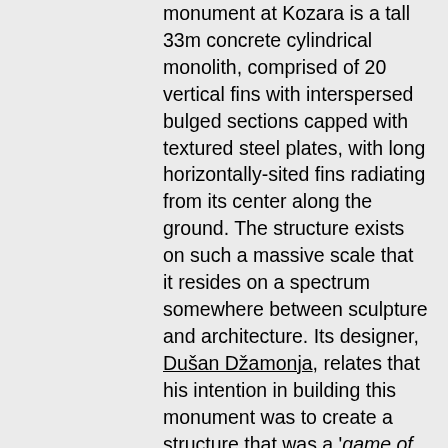monument at Kozara is a tall 33m concrete cylindrical monolith, comprised of 20 vertical fins with interspersed bulged sections capped with textured steel plates, with long horizontally-sited fins radiating from its center along the ground. The structure exists on such a massive scale that it resides on a spectrum somewhere between sculpture and architecture. Its designer, Dušan Džamonja, relates that his intention in building this monument was to create a structure that was a 'game of light and darkness'. The bulges in the concrete fins are meant to be 'positives' while the recessed non-bulging areas are the hollows or 'negatives'. These 'negatives' represent death and defeat, while the 'positives' represent life and victory. Džamonja experimented with this form in several incarnations before settling on his final design (Photo 14). In